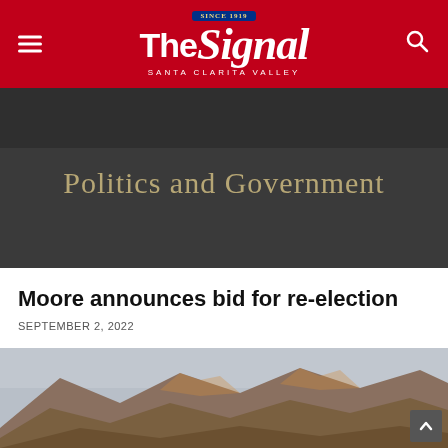The Signal — Santa Clarita Valley
[Figure (photo): Dark gray background with 'Politics and Government' text overlay in muted gold/tan color, resembling a section category banner]
Moore announces bid for re-election
SEPTEMBER 2, 2022
[Figure (photo): Aerial or wide landscape photo of dry, brown mountain hills under a pale cloudy sky, likely the Santa Clarita Valley mountains]